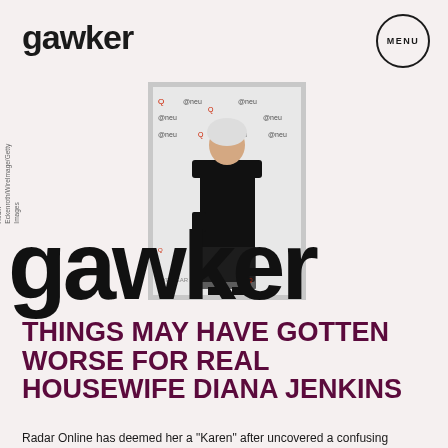gawker
[Figure (photo): Woman in black gown on red carpet with Gawker logo overlay]
Rodin Eckenroth/WireImage/Getty Images
gawker
THINGS MAY HAVE GOTTEN WORSE FOR REAL HOUSEWIFE DIANA JENKINS
Radar Online has deemed her a "Karen" after uncovered a confusing